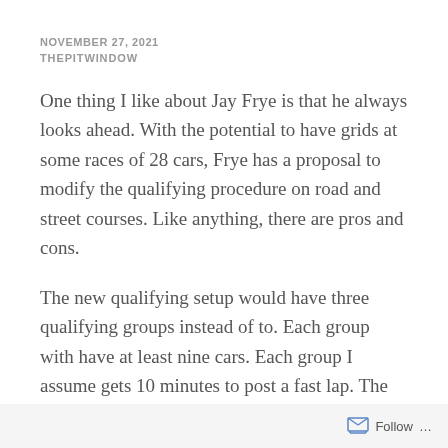NOVEMBER 27, 2021
THEPITWINDOW
One thing I like about Jay Frye is that he always looks ahead. With the potential to have grids at some races of 28 cars, Frye has a proposal to modify the qualifying procedure on road and street courses. Like anything, there are pros and cons.
The new qualifying setup would have three qualifying groups instead of to. Each group with have at least nine cars. Each group I assume gets 10 minutes to post a fast lap. The top three advance.
The fourth session is the run for the pole, with nine cars contending for the on spot instead of a Fast
Follow ...